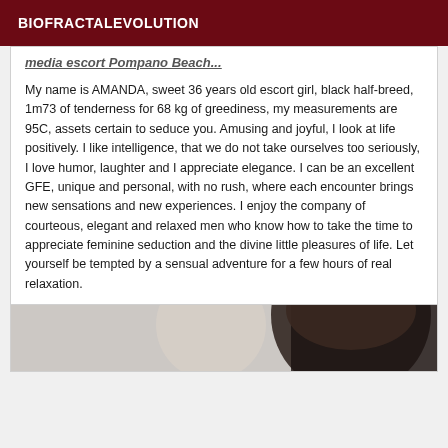BIOFRACTALEVOLUTION
media escort Pompano Beach...
My name is AMANDA, sweet 36 years old escort girl, black half-breed, 1m73 of tenderness for 68 kg of greediness, my measurements are 95C, assets certain to seduce you. Amusing and joyful, I look at life positively. I like intelligence, that we do not take ourselves too seriously, I love humor, laughter and I appreciate elegance. I can be an excellent GFE, unique and personal, with no rush, where each encounter brings new sensations and new experiences. I enjoy the company of courteous, elegant and relaxed men who know how to take the time to appreciate feminine seduction and the divine little pleasures of life. Let yourself be tempted by a sensual adventure for a few hours of real relaxation.
[Figure (photo): Partial photo of a person with dark hair, cropped at bottom of page]